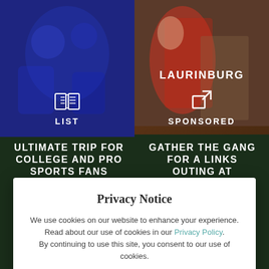[Figure (photo): Top left: blue-tinted photo of people, with book/list icon and label LIST]
LIST
[Figure (photo): Top right: photo of person in red shirt at Laurinburg, with external link icon and label SPONSORED]
LAURINBURG
SPONSORED
ULTIMATE TRIP FOR COLLEGE AND PRO SPORTS FANS
TRIP IDEA
GATHER THE GANG FOR A LINKS OUTING AT PINEHURST RESORT
TRIP IDEA
Privacy Notice
We use cookies on our website to enhance your experience. Read about our use of cookies in our Privacy Policy. By continuing to use this site, you consent to our use of cookies.
YES, I AGREE